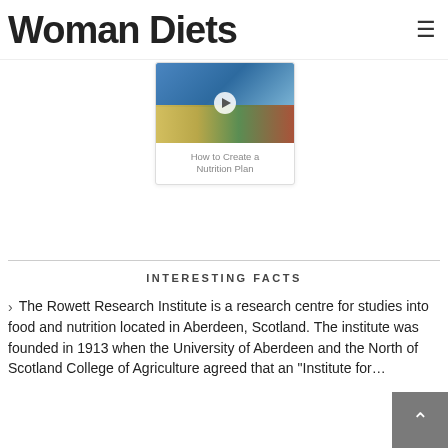Woman Diets
[Figure (screenshot): Video thumbnail showing food items on a table with a play button overlay]
How to Create a Nutrition Plan
INTERESTING FACTS
The Rowett Research Institute is a research centre for studies into food and nutrition located in Aberdeen, Scotland. The institute was founded in 1913 when the University of Aberdeen and the North of Scotland College of Agriculture agreed that an "Institute for...